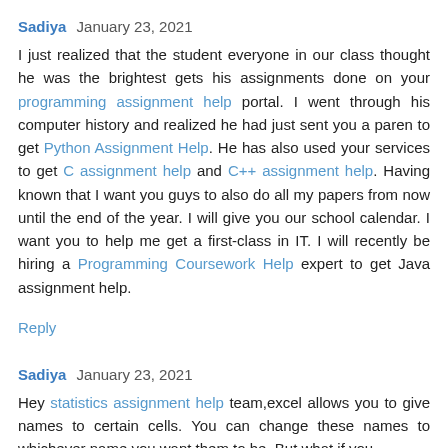Sadiya  January 23, 2021
I just realized that the student everyone in our class thought he was the brightest gets his assignments done on your programming assignment help portal. I went through his computer history and realized he had just sent you a paper to get Python Assignment Help. He has also used your services to get C assignment help and C++ assignment help. Having known that I want you guys to also do all my papers from now until the end of the year. I will give you our school calendar. I want you to help me get a first-class in IT. I will recently be hiring a Programming Coursework Help expert to get Java assignment help.
Reply
Sadiya  January 23, 2021
Hey statistics assignment help team,excel allows you to give names to certain cells. You can change these names to whichever name you want them to be. But what if you